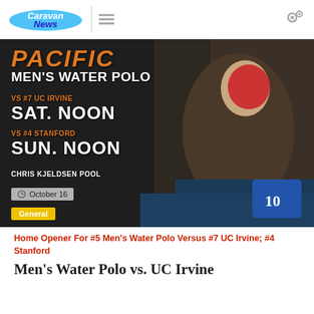CaravanNews
[Figure (photo): Pacific Men's Water Polo promotional image showing a water polo player in the pool with event details: VS #7 UC Irvine SAT. NOON, VS #4 Stanford SUN. NOON, Chris Kjeldsen Pool. October 16. General category tag.]
October 16
General
Home Opener For #5 Men's Water Polo Versus #7 UC Irvine; #4 Stanford
Men's Water Polo vs. UC Irvine